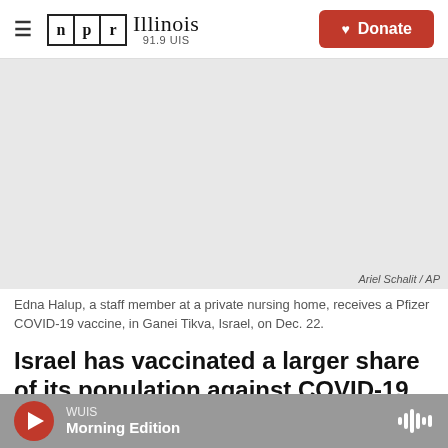NPR Illinois 91.9 UIS — Donate
[Figure (photo): Gray placeholder image for a photo of Edna Halup receiving a Pfizer COVID-19 vaccine at a private nursing home in Ganei Tikva, Israel. Credit: Ariel Schalit / AP]
Edna Halup, a staff member at a private nursing home, receives a Pfizer COVID-19 vaccine, in Ganei Tikva, Israel, on Dec. 22.
Israel has vaccinated a larger share of its population against COVID-19 than any other
WUIS — Morning Edition